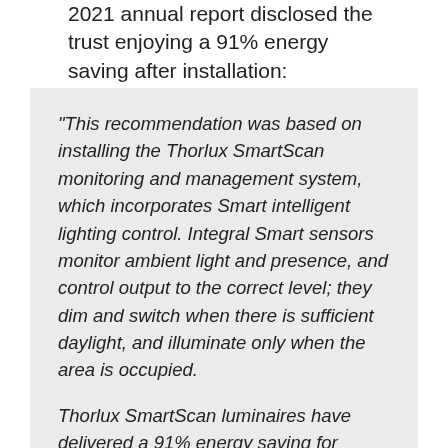2021 annual report disclosed the trust enjoying a 91% energy saving after installation:
"This recommendation was based on installing the Thorlux SmartScan monitoring and management system, which incorporates Smart intelligent lighting control. Integral Smart sensors monitor ambient light and presence, and control output to the correct level; they dim and switch when there is sufficient daylight, and illuminate only when the area is occupied.

Thorlux SmartScan luminaires have delivered a 91% energy saving for